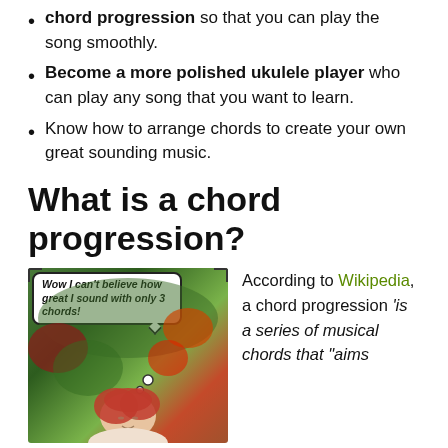chord progression so that you can play the song smoothly.
Become a more polished ukulele player who can play any song that you want to learn.
Know how to arrange chords to create your own great sounding music.
What is a chord progression?
[Figure (photo): Photo of a young woman with red hair sitting outdoors among colorful flowers and foliage, with a thought bubble comic overlay reading 'Wow I can't believe how great I sound with only 3 chords!']
According to Wikipedia, a chord progression 'is a series of musical chords that "aims'